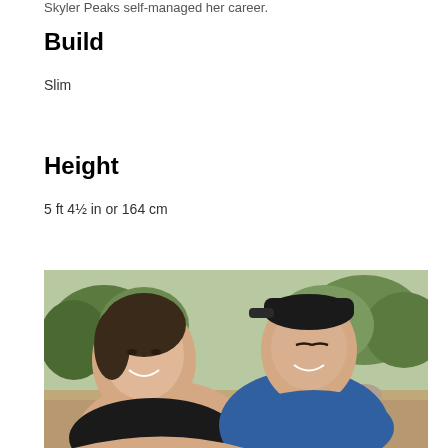Skyler Peaks self-managed her career.
Build
Slim
Height
5 ft 4½ in or 164 cm
[Figure (photo): Two young people taking a selfie outdoors on a hiking trail with trees and rocky terrain in the background. The person on the left is a young woman smiling broadly, wearing a black top. The person on the right is wearing a black backwards baseball cap and a blue top, leaning in close.]